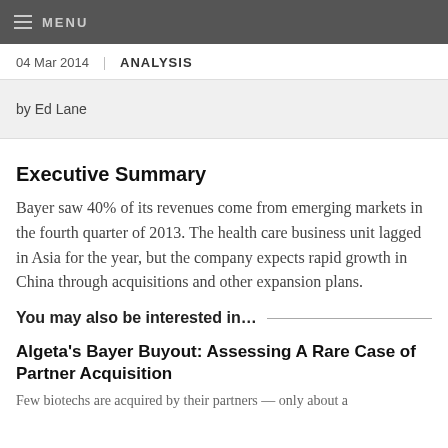MENU
04 Mar 2014 | ANALYSIS
by Ed Lane
Executive Summary
Bayer saw 40% of its revenues come from emerging markets in the fourth quarter of 2013. The health care business unit lagged in Asia for the year, but the company expects rapid growth in China through acquisitions and other expansion plans.
You may also be interested in…
Algeta's Bayer Buyout: Assessing A Rare Case of Partner Acquisition
Few biotechs are acquired by their partners — only about a